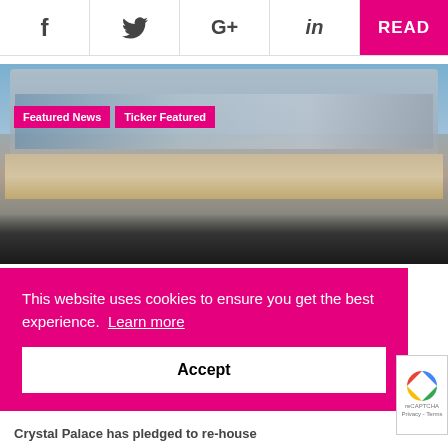[Figure (screenshot): Social media share buttons: Facebook (f), Twitter (bird), Google+ (G+), LinkedIn (in), and a pink READ button on the far right]
[Figure (photo): Architectural rendering of a modern stadium with glass and metal facade, surrounded by a crowd of spectators. Tags overlay: 'Featured News' and 'Ticker Featured' in pink.]
Featured News
Ticker Featured
This website uses cookies to ensure you get the best experience.  Learn more
Accept
Crystal Palace has pledged to re-house